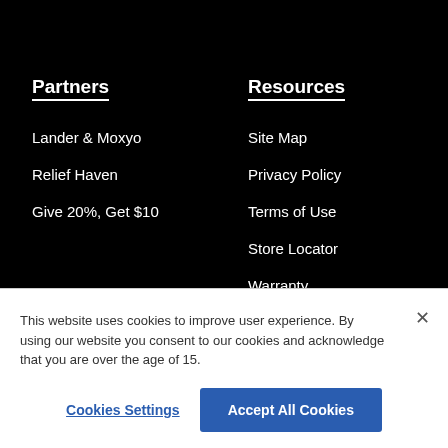Partners
Lander & Moxyo
Relief Haven
Give 20%, Get $10
Resources
Site Map
Privacy Policy
Terms of Use
Store Locator
Warranty
Accessibility
This website uses cookies to improve user experience. By using our website you consent to our cookies and acknowledge that you are over the age of 15.
Cookies Settings
Accept All Cookies